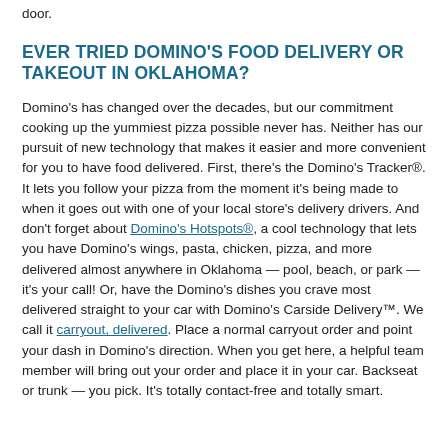door.
EVER TRIED DOMINO'S FOOD DELIVERY OR TAKEOUT IN OKLAHOMA?
Domino's has changed over the decades, but our commitment cooking up the yummiest pizza possible never has. Neither has our pursuit of new technology that makes it easier and more convenient for you to have food delivered. First, there's the Domino's Tracker®. It lets you follow your pizza from the moment it's being made to when it goes out with one of your local store's delivery drivers. And don't forget about Domino's Hotspots®, a cool technology that lets you have Domino's wings, pasta, chicken, pizza, and more delivered almost anywhere in Oklahoma — pool, beach, or park — it's your call! Or, have the Domino's dishes you crave most delivered straight to your car with Domino's Carside Delivery™. We call it carryout, delivered. Place a normal carryout order and point your dash in Domino's direction. When you get here, a helpful team member will bring out your order and place it in your car. Backseat or trunk — you pick. It's totally contact-free and totally smart.